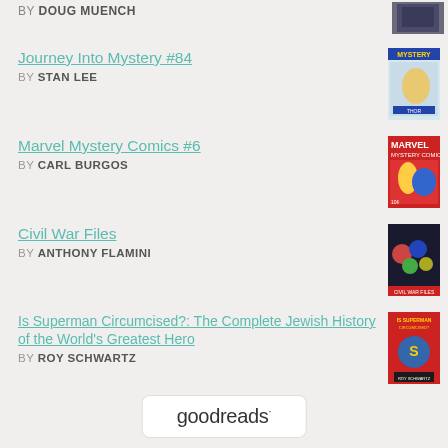BY DOUG MUENCH
Journey Into Mystery #84 BY STAN LEE
Marvel Mystery Comics #6 BY CARL BURGOS
Civil War Files BY ANTHONY FLAMINI
Is Superman Circumcised?: The Complete Jewish History of the World's Greatest Hero BY ROY SCHWARTZ
[Figure (logo): Goodreads logo in a rounded rectangle box]
[Figure (photo): Book cover thumbnail (cropped, top of page)]
[Figure (photo): Journey Into Mystery #84 book cover]
[Figure (photo): Marvel Mystery Comics #6 book cover]
[Figure (photo): Civil War Files book cover]
[Figure (photo): Is Superman Circumcised? book cover]